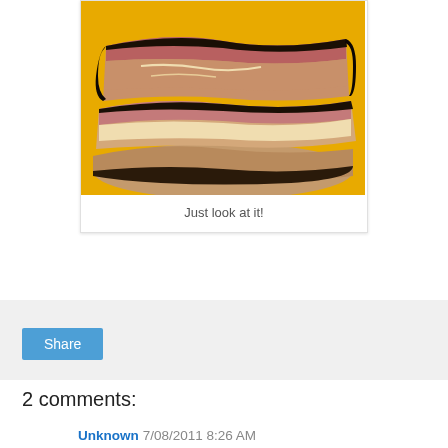[Figure (photo): Close-up photo of sliced smoked brisket with dark bark on a yellow plate/tray. The meat shows a pink smoke ring and layers of fat and lean meat.]
Just look at it!
Share
2 comments:
Unknown 7/08/2011 8:26 AM